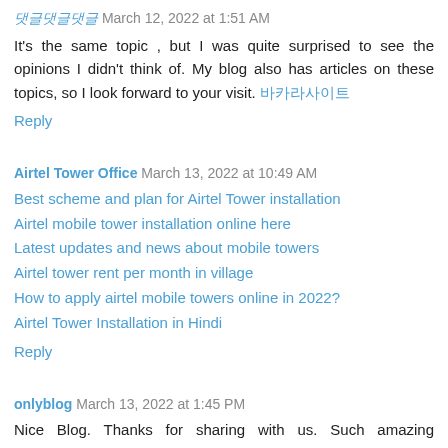댓글 March 12, 2022 at 1:51 AM
It's the same topic , but I was quite surprised to see the opinions I didn't think of. My blog also has articles on these topics, so I look forward to your visit. 바카라사이트
Reply
Airtel Tower Office  March 13, 2022 at 10:49 AM
Best scheme and plan for Airtel Tower installation
Airtel mobile tower installation online here
Latest updates and news about mobile towers
Airtel tower rent per month in village
How to apply airtel mobile towers online in 2022?
Airtel Tower Installation in Hindi
Reply
onlyblog  March 13, 2022 at 1:45 PM
Nice Blog. Thanks for sharing with us. Such amazing information.